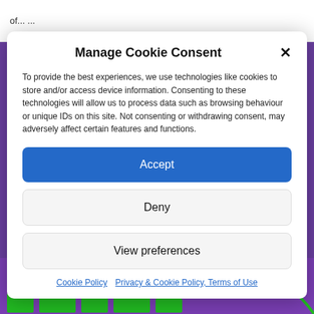of... ...
Manage Cookie Consent
To provide the best experiences, we use technologies like cookies to store and/or access device information. Consenting to these technologies will allow us to process data such as browsing behaviour or unique IDs on this site. Not consenting or withdrawing consent, may adversely affect certain features and functions.
Accept
Deny
View preferences
Cookie Policy   Privacy & Cookie Policy, Terms of Use
[Figure (screenshot): Purple/violet background with green bar chart elements and a green curve line visible at the bottom of the page]